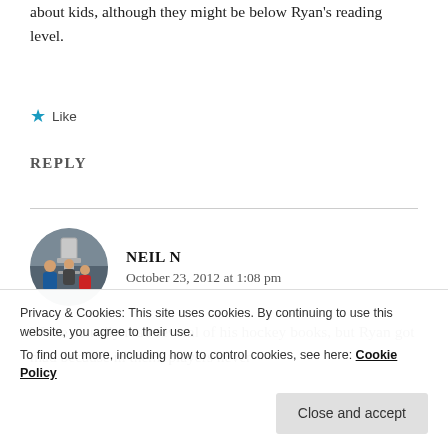about kids, although they might be below Ryan's reading level.
★ Like
REPLY
NEIL N
October 23, 2012 at 1:08 pm
We've actually read several of his hockey books, but Ryan got mad because in them, players never
Privacy & Cookies: This site uses cookies. By continuing to use this website, you agree to their use.
To find out more, including how to control cookies, see here: Cookie Policy
Close and accept